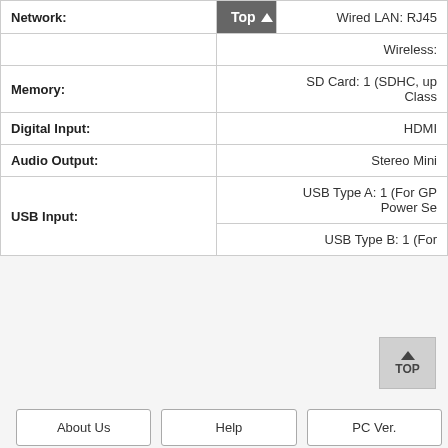| Spec | Value |
| --- | --- |
| Network: | Wired LAN: RJ45 |
|  | Wireless: |
| Memory: | SD Card: 1 (SDHC, up to Class |
| Digital Input: | HDMI |
| Audio Output: | Stereo Mini |
| USB Input: | USB Type A: 1 (For GP Power Se |
|  | USB Type B: 1 (For |
TOP
About Us
Help
PC Ver.
Terms and Conditions | Privacy Policy
Cart
Wish List
Checkout